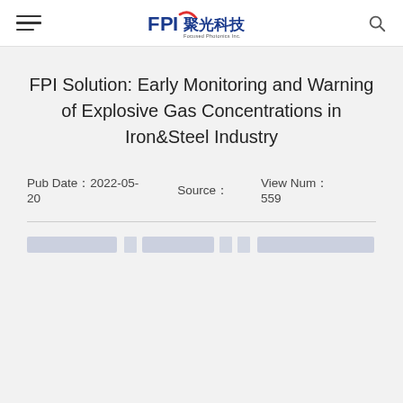FPI 聚光科技 Focused Photonics Inc. — navigation header with hamburger menu and search icon
FPI Solution: Early Monitoring and Warning of Explosive Gas Concentrations in Iron&Steel Industry
Pub Date：2022-05-20   Source：   View Num：559
[Figure (screenshot): Blurred/watermarked navigation breadcrumb bar in dark blue]